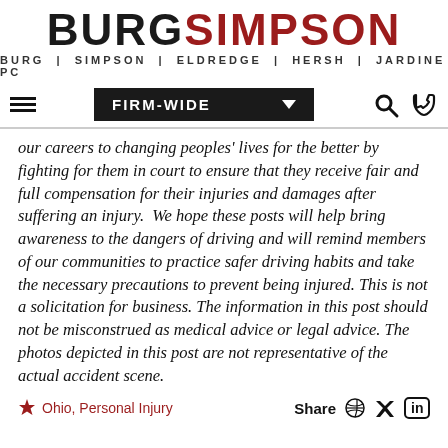[Figure (logo): Burg Simpson law firm logo with text BURGSIMPSON and subtitle BURG | SIMPSON | ELDREDGE | HERSH | JARDINE PC]
[Figure (screenshot): Navigation bar with hamburger menu, FIRM-WIDE dropdown, search and phone icons]
our careers to changing peoples' lives for the better by fighting for them in court to ensure that they receive fair and full compensation for their injuries and damages after suffering an injury.  We hope these posts will help bring awareness to the dangers of driving and will remind members of our communities to practice safer driving habits and take the necessary precautions to prevent being injured. This is not a solicitation for business. The information in this post should not be misconstrued as medical advice or legal advice. The photos depicted in this post are not representative of the actual accident scene.
Ohio, Personal Injury
Share